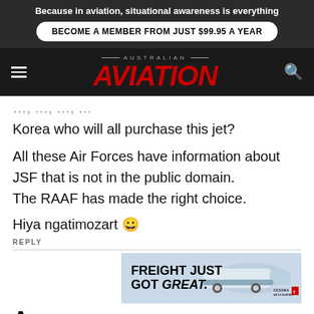Because in aviation, situational awareness is everything
BECOME A MEMBER FROM JUST $99.95 A YEAR
[Figure (logo): Australian Aviation magazine logo with red italic AVIATION text on dark background]
Korea who will all purchase this jet?
All these Air Forces have information about JSF that is not in the public domain.
The RAAF has made the right choice.
Hiya ngatimozart 😀
REPLY
[Figure (infographic): Advertisement banner: FREIGHT JUST GOT GREAT. with Cessna Skycourier aircraft image and Cessna/Textron Aviation logos]
A